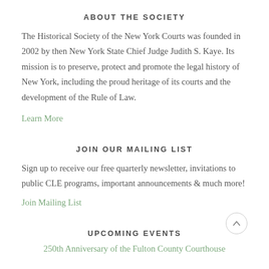ABOUT THE SOCIETY
The Historical Society of the New York Courts was founded in 2002 by then New York State Chief Judge Judith S. Kaye. Its mission is to preserve, protect and promote the legal history of New York, including the proud heritage of its courts and the development of the Rule of Law.
Learn More
JOIN OUR MAILING LIST
Sign up to receive our free quarterly newsletter, invitations to public CLE programs, important announcements & much more!
Join Mailing List
UPCOMING EVENTS
250th Anniversary of the Fulton County Courthouse